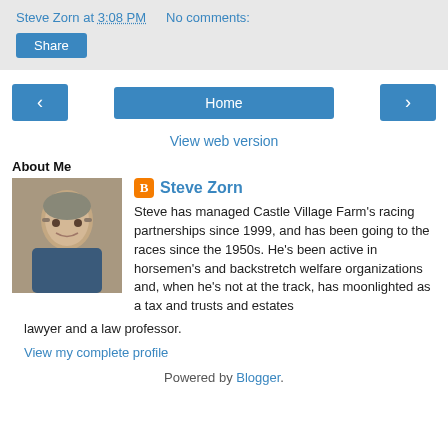Steve Zorn at 3:08 PM    No comments:
Share
[Figure (other): Navigation buttons: left arrow, Home, right arrow]
View web version
About Me
[Figure (photo): Profile photo of Steve Zorn, an older man with glasses]
Steve Zorn
Steve has managed Castle Village Farm's racing partnerships since 1999, and has been going to the races since the 1950s. He's been active in horsemen's and backstretch welfare organizations and, when he's not at the track, has moonlighted as a tax and trusts and estates lawyer and a law professor.
View my complete profile
Powered by Blogger.